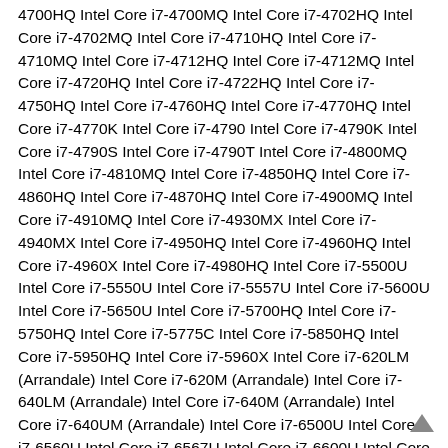4700HQ Intel Core i7-4700MQ Intel Core i7-4702HQ Intel Core i7-4702MQ Intel Core i7-4710HQ Intel Core i7-4710MQ Intel Core i7-4712HQ Intel Core i7-4712MQ Intel Core i7-4720HQ Intel Core i7-4722HQ Intel Core i7-4750HQ Intel Core i7-4760HQ Intel Core i7-4770HQ Intel Core i7-4770K Intel Core i7-4790 Intel Core i7-4790K Intel Core i7-4790S Intel Core i7-4790T Intel Core i7-4800MQ Intel Core i7-4810MQ Intel Core i7-4850HQ Intel Core i7-4860HQ Intel Core i7-4870HQ Intel Core i7-4900MQ Intel Core i7-4910MQ Intel Core i7-4930MX Intel Core i7-4940MX Intel Core i7-4950HQ Intel Core i7-4960HQ Intel Core i7-4960X Intel Core i7-4980HQ Intel Core i7-5500U Intel Core i7-5550U Intel Core i7-5557U Intel Core i7-5600U Intel Core i7-5650U Intel Core i7-5700HQ Intel Core i7-5750HQ Intel Core i7-5775C Intel Core i7-5850HQ Intel Core i7-5950HQ Intel Core i7-5960X Intel Core i7-620LM (Arrandale) Intel Core i7-620M (Arrandale) Intel Core i7-640LM (Arrandale) Intel Core i7-640M (Arrandale) Intel Core i7-640UM (Arrandale) Intel Core i7-6500U Intel Core i7-6560U Intel Core i7-6567U Intel Core i7-6600U Intel Core i7-660LM (Arrandale) Intel Core i7-660UM (Arrandale) Intel Core i7-6650U Intel Core i7-6700 Intel Core i7-6700HQ Intel Core i7-6700K Intel Core i7-6700T Intel Core i7-6770HQ Intel Core i7-680UM (Arrandale) Intel Core i7-6820HK Intel Core i7-6820HQ Intel Core i7-6870HQ Intel Core i7-6920HQ Intel Core i7-6950X Intel Core